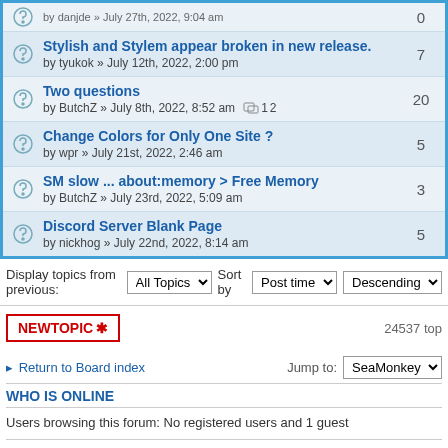Stylish and Stylem appear broken in new release. by tyukok » July 12th, 2022, 2:00 pm — 7 replies
Two questions by ButchZ » July 8th, 2022, 8:52 am — 20 replies
Change Colors for Only One Site ? by wpr » July 21st, 2022, 2:46 am — 5 replies
SM slow ... about:memory > Free Memory by ButchZ » July 23rd, 2022, 5:09 am — 3 replies
Discord Server Blank Page by nickhog » July 22nd, 2022, 8:14 am — 5 replies
Display topics from previous: All Topics Sort by Post time Descending
NEWTOPIC ✱    24537 top
Return to Board index    Jump to: SeaMonkey
WHO IS ONLINE
Users browsing this forum: No registered users and 1 guest
FORUM PERMISSIONS
You cannot post new topics in this forum